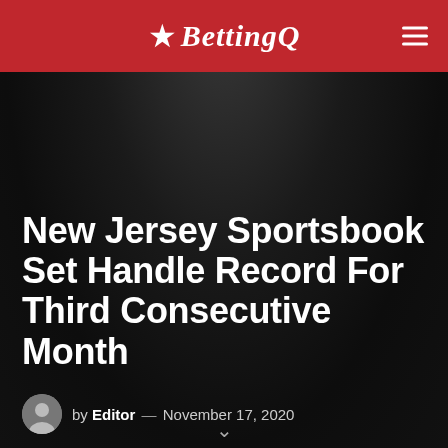BettingQ
New Jersey Sportsbook Set Handle Record For Third Consecutive Month
by Editor — November 17, 2020